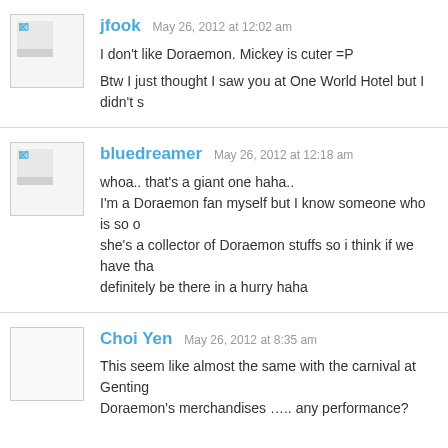jfook May 26, 2012 at 12:02 am
I don't like Doraemon. Mickey is cuter =P
Btw I just thought I saw you at One World Hotel but I didn't s
bluedreamer May 26, 2012 at 12:18 am
whoa.. that's a giant one haha.. I'm a Doraemon fan myself but I know someone who is so o she's a collector of Doraemon stuffs so i think if we have tha definitely be there in a hurry haha
Choi Yen May 26, 2012 at 8:35 am
This seem like almost the same with the carnival at Genting Doraemon's merchandises ….. any performance?